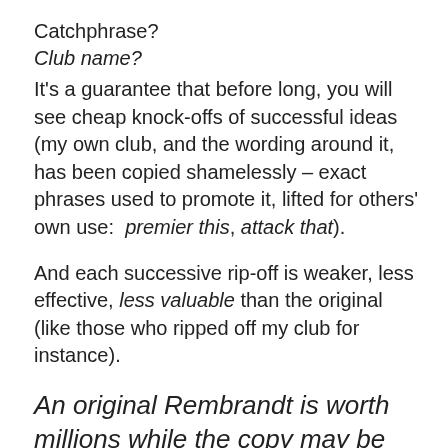Catchphrase?
Club name?
It's a guarantee that before long, you will see cheap knock-offs of successful ideas (my own club, and the wording around it,  has been copied shamelessly – exact phrases used to promote it, lifted for others' own use:  premier this, attack that).
And each successive rip-off is weaker, less effective, less valuable than the original (like those who ripped off my club for instance).
An original Rembrandt is worth millions while the copy may be had for pennies on the dollar.